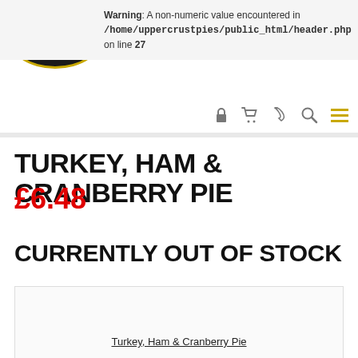[Figure (logo): The Uppercrust Pie Co. Ltd logo — black oval with gold border and gold italic text]
Warning: A non-numeric value encountered in /home/uppercrustpies/public_html/header.php on line 27
TURKEY, HAM & CRANBERRY PIE
£6.48
CURRENTLY OUT OF STOCK
Turkey, Ham & Cranberry Pie